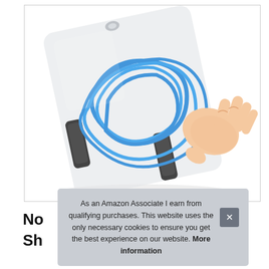[Figure (photo): Product photo showing a jump rope with blue rope and black handles in a clear plastic clamshell packaging, held by a human hand against a white background.]
No
Sh
As an Amazon Associate I earn from qualifying purchases. This website uses the only necessary cookies to ensure you get the best experience on our website. More information